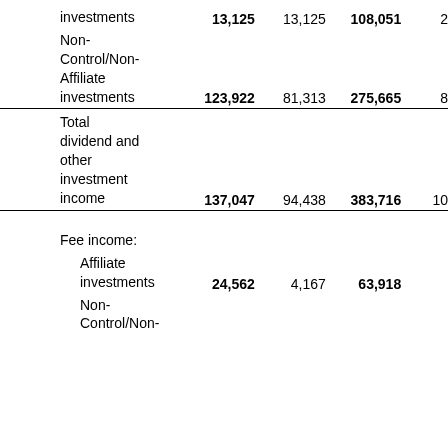|  | Col1 | Col2 | Col3 | Col4 |
| --- | --- | --- | --- | --- |
| investments | 13,125 | 13,125 | 108,051 | 2… |
| Non-
Control/Non-
Affiliate
investments | 123,922 | 81,313 | 275,665 | 8… |
| Total
dividend and
other
investment
income | 137,047 | 94,438 | 383,716 | 10… |
| Fee income: |  |  |  |  |
| Affiliate
investments | 24,562 | 4,167 | 63,918 |  |
| Non-
Control/Non- |  |  |  |  |